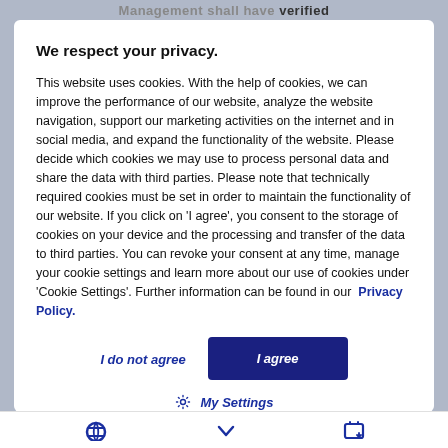Management shall have verified
We respect your privacy.
This website uses cookies. With the help of cookies, we can improve the performance of our website, analyze the website navigation, support our marketing activities on the internet and in social media, and expand the functionality of the website. Please decide which cookies we may use to process personal data and share the data with third parties. Please note that technically required cookies must be set in order to maintain the functionality of our website. If you click on 'I agree', you consent to the storage of cookies on your device and the processing and transfer of the data to third parties. You can revoke your consent at any time, manage your cookie settings and learn more about our use of cookies under 'Cookie Settings'. Further information can be found in our  Privacy Policy.
I do not agree
I agree
My Settings